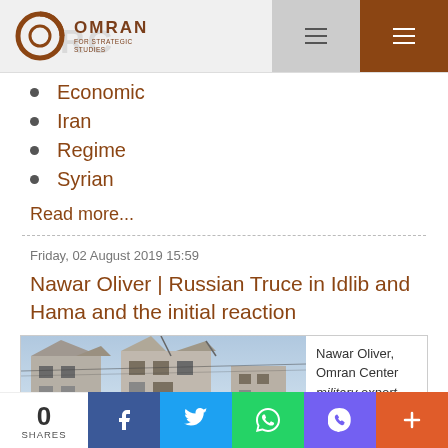OMRAN FOR STRATEGIC STUDIES
Economic
Iran
Regime
Syrian
Read more...
Friday, 02 August 2019 15:59
Nawar Oliver | Russian Truce in Idlib and Hama and the initial reaction
[Figure (photo): Bombed/destroyed building in Syria]
Nawar Oliver, Omran Center military expert